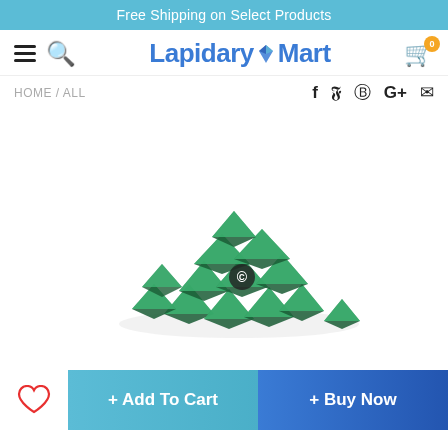Free Shipping on Select Products
[Figure (logo): LapidaryMart logo with diamond icon and navigation icons including hamburger menu, search, and cart with 0 badge]
HOME / ALL
[Figure (photo): Pile of green aventurine or jade pyramid-shaped gemstone pieces on white background]
+ Add To Cart
+ Buy Now